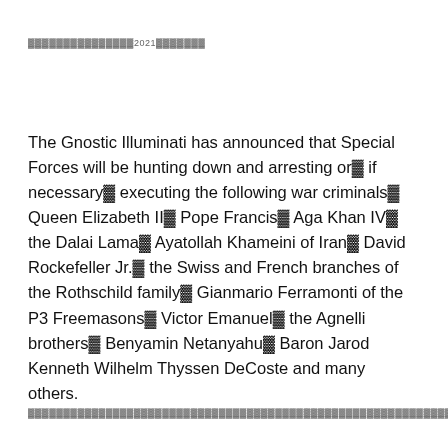▓▓▓▓▓▓▓▓▓▓▓▓▓▓▓2021▓▓▓▓▓▓▓
The Gnostic Illuminati has announced that Special Forces will be hunting down and arresting or▓ if necessary▓ executing the following war criminals▓ Queen Elizabeth II▓ Pope Francis▓ Aga Khan IV▓ the Dalai Lama▓ Ayatollah Khameini of Iran▓ David Rockefeller Jr.▓ the Swiss and French branches of the Rothschild family▓ Gianmario Ferramonti of the P3 Freemasons▓ Victor Emanuel▓ the Agnelli brothers▓ Benyamin Netanyahu▓ Baron Jarod Kenneth Wilhelm Thyssen DeCoste and many others.
▓▓▓▓▓▓▓▓▓▓▓▓▓▓▓▓▓▓▓▓▓▓▓▓▓▓▓▓▓▓▓▓▓▓▓▓▓▓▓▓▓▓▓▓▓▓▓▓▓▓▓▓▓▓▓▓▓▓▓▓▓▓▓▓▓▓▓